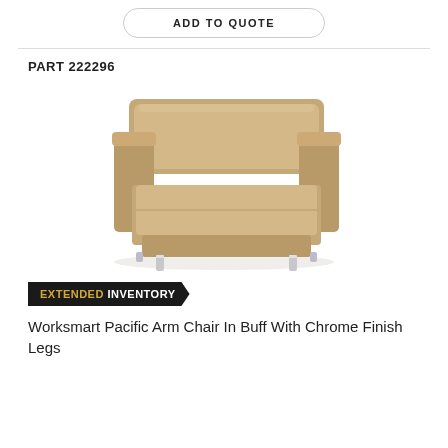ADD TO QUOTE
PART 222296
[Figure (photo): Worksmart Pacific Arm Chair in buff/tan leather upholstery with chrome finish legs, three-quarter view]
EXTENDED INVENTORY
Worksmart Pacific Arm Chair In Buff With Chrome Finish Legs